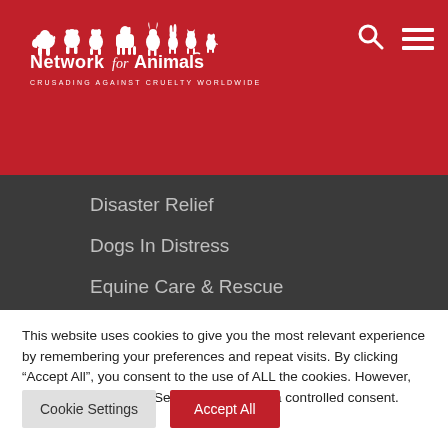[Figure (logo): Network for Animals logo — white silhouettes of animals (elephant, bear, dog, horse, deer, rabbit, cat, dog) above the text 'Network for Animals' and tagline 'CRUSADING AGAINST CRUELTY WORLDWIDE' on a red background, with search and hamburger menu icons top right]
Disaster Relief
Dogs In Distress
Equine Care & Rescue
Seals
Worldwide Donkey Crisis
This website uses cookies to give you the most relevant experience by remembering your preferences and repeat visits. By clicking "Accept All", you consent to the use of ALL the cookies. However, you may visit "Cookie Settings" to provide a controlled consent.